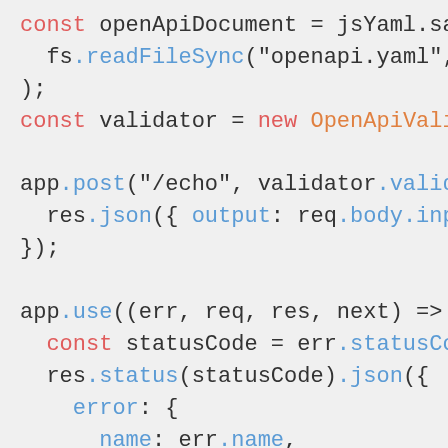[Figure (screenshot): Code snippet showing JavaScript/Node.js code with syntax highlighting. Contains OpenAPI validator setup and Express.js route handlers with error handling middleware.]